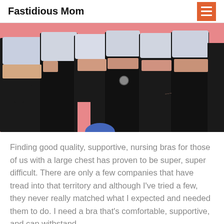Fastidious Mom
[Figure (photo): Group of women in black athletic leggings and light-colored sports bras posed together against a pink background, including one visibly pregnant woman.]
Finding good quality, supportive, nursing bras for those of us with a large chest has proven to be super, super difficult. There are only a few companies that have tread into that territory and although I've tried a few, they never really matched what I expected and needed them to do. I need a bra that's comfortable, supportive, and can withstand